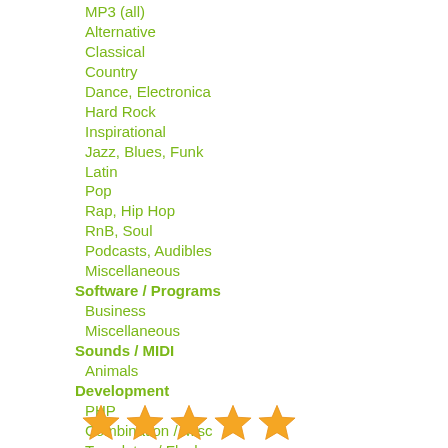MP3 (all)
Alternative
Classical
Country
Dance, Electronica
Hard Rock
Inspirational
Jazz, Blues, Funk
Latin
Pop
Rap, Hip Hop
RnB, Soul
Podcasts, Audibles
Miscellaneous
Software / Programs
Business
Miscellaneous
Sounds / MIDI
Animals
Development
PHP
Combination / Misc
Templates / Flash
[Figure (illustration): Five orange/yellow star rating icons in a row]